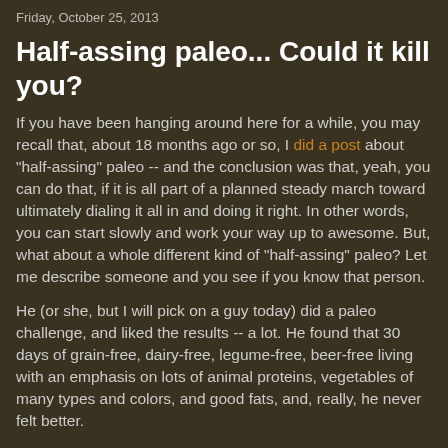Friday, October 25, 2013
Half-assing paleo... Could it kill you?
If you have been hanging around here for a while, you may recall that, about 18 months ago or so, I did a post about "half-assing" paleo -- and the conclusion was that, yeah, you can do that, if it is all part of a planned steady march toward ultimately dialing it all in and doing it right. In other words, you can start slowly and work your way up to awesome. But, what about a whole different kind of "half-assing" paleo? Let me describe someone and you see if you know that person.
He (or she, but I will pick on a guy today) did a paleo challenge, and liked the results -- a lot. He found that 30 days of grain-free, dairy-free, legume-free, beer-free living with an emphasis on lots of animal proteins, vegetables of many types and colors, and good fats, and, really, he never felt better.
But then a few months removed from the challenge, things aren't going so well for our man. He is still eating a lot of